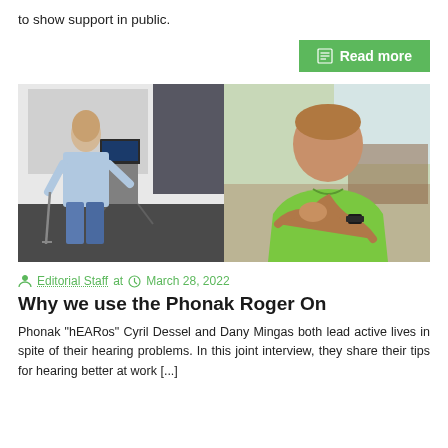to show support in public.
Read more
[Figure (photo): Two photos side by side: left shows a man in a light blue shirt standing next to a laptop on a stand in a conference room; right shows a man in a bright green shirt sitting thoughtfully with his hand on his chin.]
Editorial Staff at  March 28, 2022
Why we use the Phonak Roger On
Phonak "hEARos" Cyril Dessel and Dany Mingas both lead active lives in spite of their hearing problems. In this joint interview, they share their tips for hearing better at work [...]